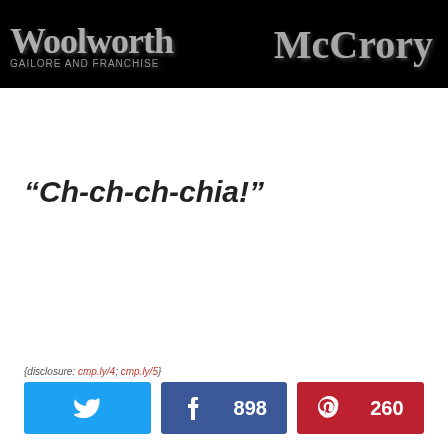[Figure (photo): Dark banner image with 'Woolworth' logo text on the left and 'McCrory' logo text on the right, white text on black background]
“Ch-ch-ch-chia!”
{disclosure: cmp.ly/4; cmp.ly/5}